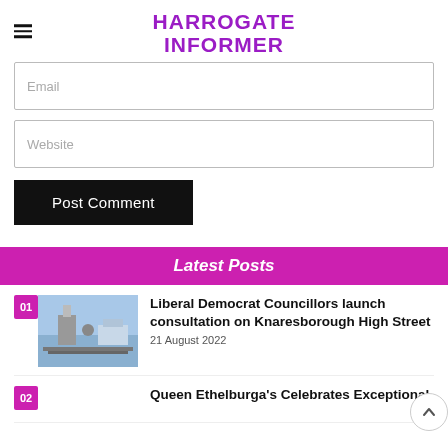HARROGATE INFORMER
Email
Website
Post Comment
Latest Posts
Liberal Democrat Councillors launch consultation on Knaresborough High Street
21 August 2022
Queen Ethelburga's Celebrates Exceptional